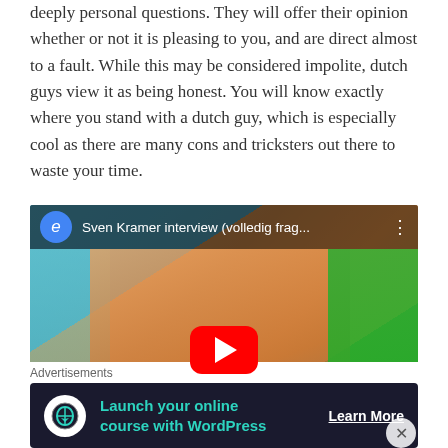deeply personal questions. They will offer their opinion whether or not it is pleasing to you, and are direct almost to a fault. While this may be considered impolite, dutch guys view it as being honest. You will know exactly where you stand with a dutch guy, which is especially cool as there are many cons and tricksters out there to waste your time.
[Figure (screenshot): YouTube video thumbnail showing 'Sven Kramer interview (volledig frag...' with a young man in an orange shirt resting his chin on his hand, green background, with a red YouTube play button overlay.]
Advertisements
[Figure (infographic): Advertisement banner: dark background with icon, text 'Launch your online course with WordPress' in teal, and 'Learn More' call-to-action button.]